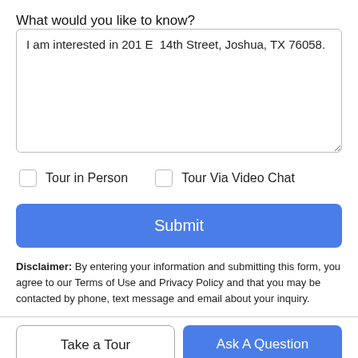What would you like to know?
I am interested in 201 E  14th Street, Joshua, TX 76058.
Tour in Person
Tour Via Video Chat
Submit
Disclaimer: By entering your information and submitting this form, you agree to our Terms of Use and Privacy Policy and that you may be contacted by phone, text message and email about your inquiry.
Take a Tour
Ask A Question